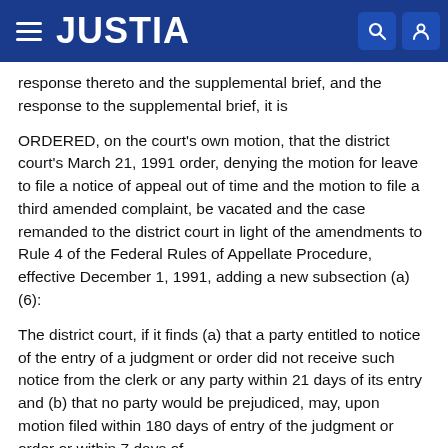JUSTIA
response thereto and the supplemental brief, and the response to the supplemental brief, it is
ORDERED, on the court's own motion, that the district court's March 21, 1991 order, denying the motion for leave to file a notice of appeal out of time and the motion to file a third amended complaint, be vacated and the case remanded to the district court in light of the amendments to Rule 4 of the Federal Rules of Appellate Procedure, effective December 1, 1991, adding a new subsection (a) (6):
The district court, if it finds (a) that a party entitled to notice of the entry of a judgment or order did not receive such notice from the clerk or any party within 21 days of its entry and (b) that no party would be prejudiced, may, upon motion filed within 180 days of entry of the judgment or order or within 7 days of